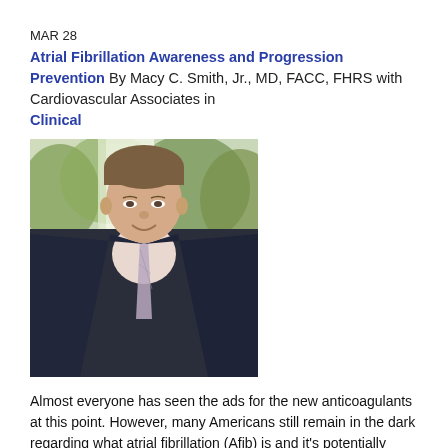MAR 28
Atrial Fibrillation Awareness and Progression Prevention By Macy C. Smith, Jr., MD, FACC, FHRS with Cardiovascular Associates in Clinical
[Figure (photo): Professional headshot of a middle-aged man in a dark navy suit and striped tie, smiling, with green trees visible through a window in the background.]
Almost everyone has seen the ads for the new anticoagulants at this point. However, many Americans still remain in the dark regarding what atrial fibrillation (Afib) is and it's potentially devastating consequences. Despite increasing efforts to improve the awareness for atrial fibrillation, many still do not know it's signs